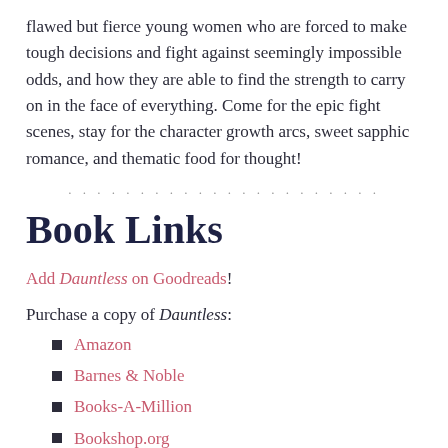flawed but fierce young women who are forced to make tough decisions and fight against seemingly impossible odds, and how they are able to find the strength to carry on in the face of everything. Come for the epic fight scenes, stay for the character growth arcs, sweet sapphic romance, and thematic food for thought!
Book Links
Add Dauntless on Goodreads!
Purchase a copy of Dauntless:
Amazon
Barnes & Noble
Books-A-Million
Bookshop.org